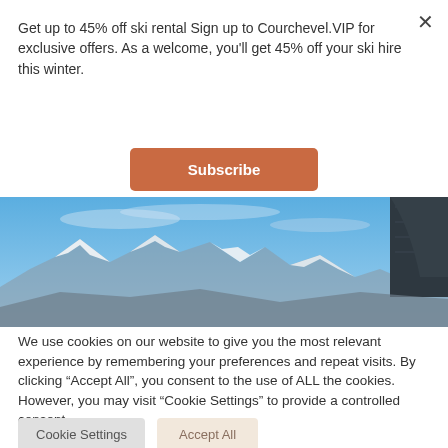Get up to 45% off ski rental Sign up to Courchevel.VIP for exclusive offers. As a welcome, you'll get 45% off your ski hire this winter.
Subscribe
[Figure (photo): Wide panoramic photo of snow-capped mountain peaks under a blue sky, with part of a dark building/structure visible on the right side.]
We use cookies on our website to give you the most relevant experience by remembering your preferences and repeat visits. By clicking “Accept All”, you consent to the use of ALL the cookies. However, you may visit “Cookie Settings” to provide a controlled consent.
Cookie Settings
Accept All